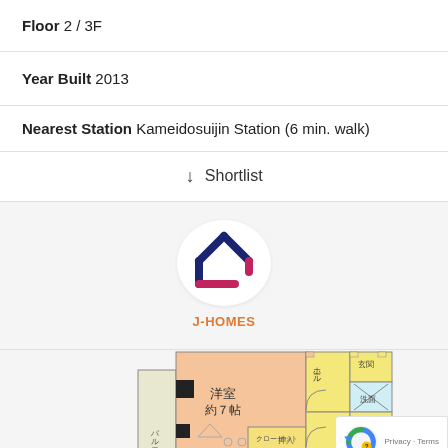Floor 2 / 3F
Year Built 2013
Nearest Station Kameidosuijin Station (6 min. walk)
↓ Shortlist
[Figure (logo): J-HOMES logo: a house outline shape in dark navy blue with a magenta/pink accent, inside a white circle. Below the circle the text J-HOMES in orange.]
[Figure (other): Partial apartment floor plan in Japanese with room labels including 洋室約7帖 (Western-style room approx. 7 tatami), ホール (hall), 玄関 (entrance), 洗面 (wash area), WC, バルコニー (balcony), クローゼット (closet), 押入 (storage).]